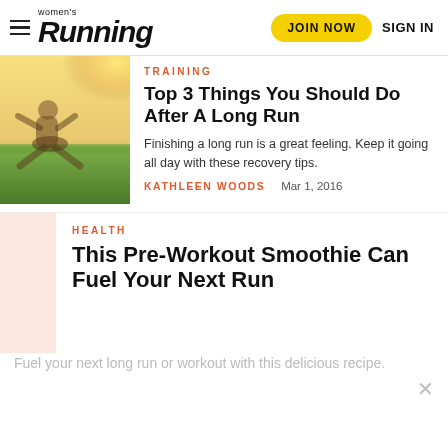Women's Running | JOIN NOW | SIGN IN
TRAINING
Top 3 Things You Should Do After A Long Run
Finishing a long run is a great feeling. Keep it going all day with these recovery tips.
KATHLEEN WOODS   Mar 1, 2016
HEALTH
This Pre-Workout Smoothie Can Fuel Your Next Run
Fuel your next long run or workout with this delicious recipe.